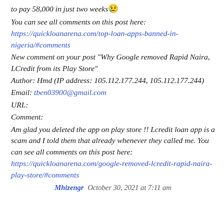to pay 58,000 in just two weeks 😢 You can see all comments on this post here: https://quickloanarena.com/top-loan-apps-banned-in-nigeria/#comments New comment on your post "Why Google removed Rapid Naira, LCredit from its Play Store" Author: Hmd (IP address: 105.112.177.244, 105.112.177.244) Email: tben03900@gmail.com URL: Comment: Am glad you deleted the app on play store !! Lcredit loan app is a scam and I told them that already whenever they called me. You can see all comments on this post here: https://quickloanarena.com/google-removed-lcredit-rapid-naira-play-store/#comments
Mhizengr   October 30, 2021 at 7:11 am